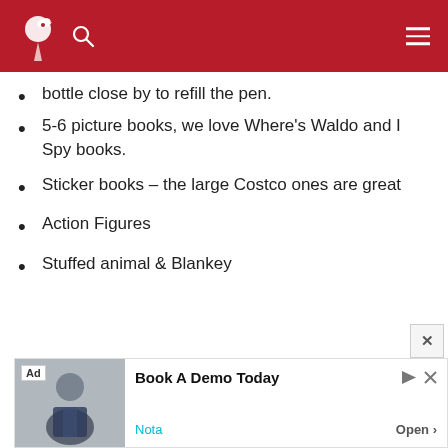bottle close by to refill the pen.
5-6 picture books, we love Where's Waldo and I Spy books.
Sticker books – the large Costco ones are great
Action Figures
Stuffed animal & Blankey
[Figure (screenshot): Ad banner: Book A Demo Today - Nota, with Open button and close icon]